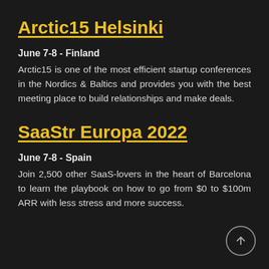Arctic15 Helsinki
June 7-8 - Finland
Arctic15 is one of the most efficient startup conferences in the Nordics & Baltics and provides you with the best meeting place to build relationships and make deals.
SaaStr Europa 2022
June 7-8 - Spain
Join 2,500 other SaaS-lovers in the heart of Barcelona to learn the playbook on how to go from $0 to $100m ARR with less stress and more success.